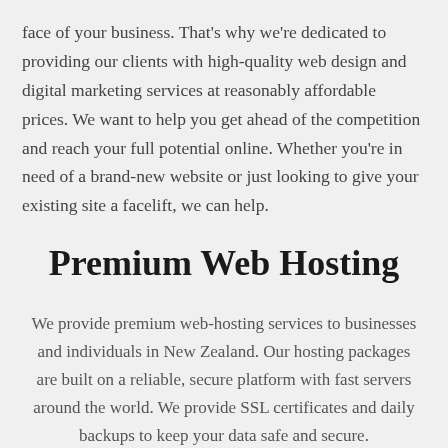face of your business. That's why we're dedicated to providing our clients with high-quality web design and digital marketing services at reasonably affordable prices. We want to help you get ahead of the competition and reach your full potential online. Whether you're in need of a brand-new website or just looking to give your existing site a facelift, we can help.
Premium Web Hosting
We provide premium web-hosting services to businesses and individuals in New Zealand. Our hosting packages are built on a reliable, secure platform with fast servers around the world. We provide SSL certificates and daily backups to keep your data safe and secure.